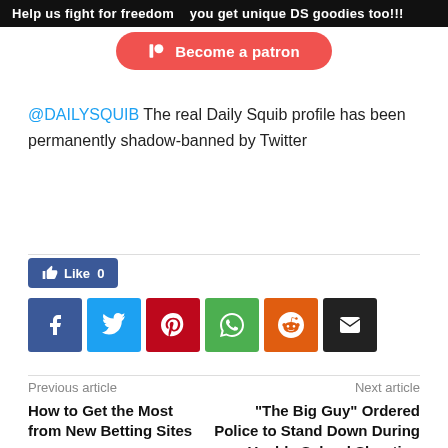Help us fight for freedom   you get unique DS goodies too!!!
[Figure (other): Red rounded button with Patreon logo icon and text 'Become a patron']
@DAILYSQUIB The real Daily Squib profile has been permanently shadow-banned by Twitter
[Figure (other): Facebook Like button showing count 0]
[Figure (other): Row of social sharing icon buttons: Facebook, Twitter, Pinterest, WhatsApp, Reddit, Email]
Previous article
How to Get the Most from New Betting Sites
Next article
"The Big Guy" Ordered Police to Stand Down During Uvalde School Shooting